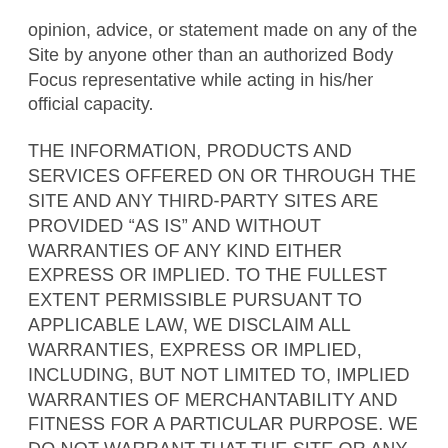opinion, advice, or statement made on any of the Site by anyone other than an authorized Body Focus representative while acting in his/her official capacity.
THE INFORMATION, PRODUCTS AND SERVICES OFFERED ON OR THROUGH THE SITE AND ANY THIRD-PARTY SITES ARE PROVIDED “AS IS” AND WITHOUT WARRANTIES OF ANY KIND EITHER EXPRESS OR IMPLIED. TO THE FULLEST EXTENT PERMISSIBLE PURSUANT TO APPLICABLE LAW, WE DISCLAIM ALL WARRANTIES, EXPRESS OR IMPLIED, INCLUDING, BUT NOT LIMITED TO, IMPLIED WARRANTIES OF MERCHANTABILITY AND FITNESS FOR A PARTICULAR PURPOSE. WE DO NOT WARRANT THAT THE SITE OR ANY OF ITS FUNCTIONS WILL BE UNINTERRUPTED OR